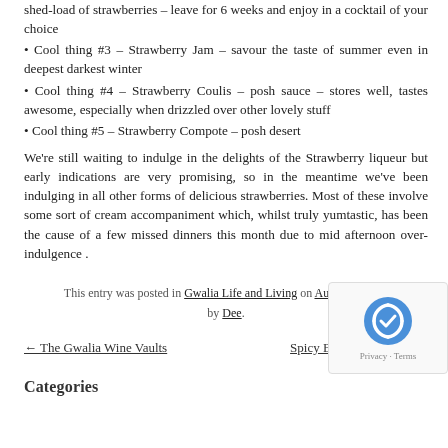shed-load of strawberries – leave for 6 weeks and enjoy in a cocktail of your choice
• Cool thing #3 – Strawberry Jam – savour the taste of summer even in deepest darkest winter
• Cool thing #4 – Strawberry Coulis – posh sauce – stores well, tastes awesome, especially when drizzled over other lovely stuff
• Cool thing #5 – Strawberry Compote – posh desert
We're still waiting to indulge in the delights of the Strawberry liqueur but early indications are very promising, so in the meantime we've been indulging in all other forms of delicious strawberries. Most of these involve some sort of cream accompaniment which, whilst truly yumtastic, has been the cause of a few missed dinners this month due to mid afternoon over-indulgence .
This entry was posted in Gwalia Life and Living on August 4, 2013 by Dee.
← The Gwalia Wine Vaults   Spicy Blackcurrant Chu…
Categories